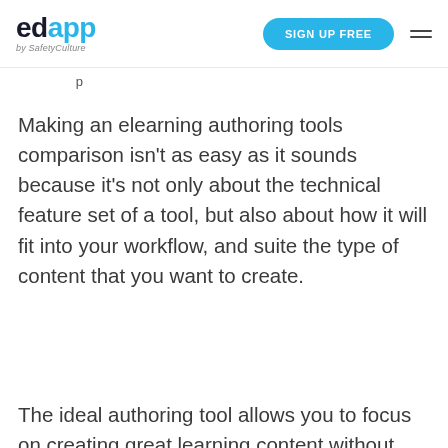edapp by SafetyCulture | SIGN UP FREE
Making an elearning authoring tools comparison isn't as easy as it sounds because it's not only about the technical feature set of a tool, but also about how it will fit into your workflow, and suite the type of content that you want to create.
The ideal authoring tool allows you to focus on creating great learning content without having to worry